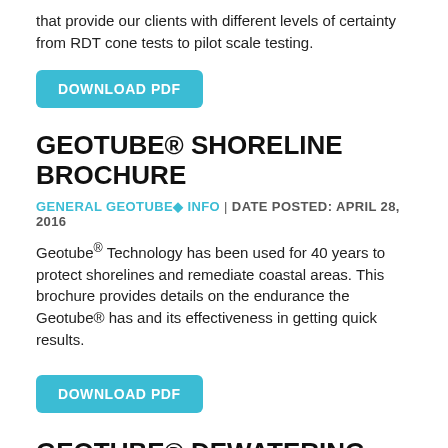that provide our clients with different levels of certainty from RDT cone tests to pilot scale testing.
DOWNLOAD PDF
GEOTUBE® SHORELINE BROCHURE
GENERAL GEOTUBE◆ INFO | DATE POSTED: APRIL 28, 2016
Geotube® Technology has been used for 40 years to protect shorelines and remediate coastal areas. This brochure provides details on the endurance the Geotube® has and its effectiveness in getting quick results.
DOWNLOAD PDF
GEOTUBE® DEWATERING BROCHURE:
GENERAL GEOTUBE◆ INFO | DATE POSTED: APRIL 28, 2016
Geotube® technology has been used all around the world as the